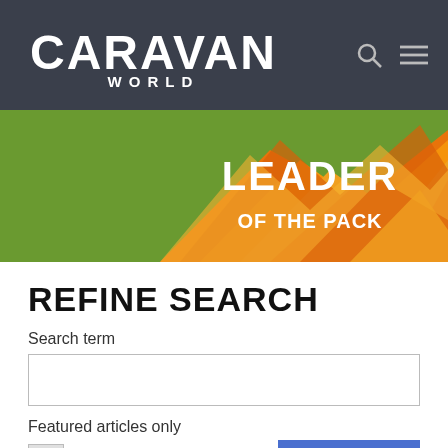CARAVAN WORLD
[Figure (illustration): Orange geometric polygon banner with text 'LEADER OF THE PACK' on green/outdoor background]
REFINE SEARCH
Search term
Featured articles only
Search
FEATURED: